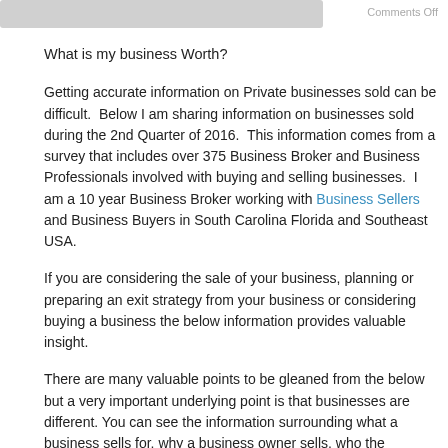Comments Off
What is my business Worth?
Getting accurate information on Private businesses sold can be difficult.  Below I am sharing information on businesses sold during the 2nd Quarter of 2016.  This information comes from a survey that includes over 375 Business Broker and Business Professionals involved with buying and selling businesses.  I am a 10 year Business Broker working with Business Sellers and Business Buyers in South Carolina Florida and Southeast USA.
If you are considering the sale of your business, planning or preparing an exit strategy from your business or considering buying a business the below information provides valuable insight.
There are many valuable points to be gleaned from the below but a very important underlying point is that businesses are different. You can see the information surrounding what a business sells for, why a business owner sells, who the business buyers are, where a buyer comes from , and why a business buyer buys a business. The size of the business